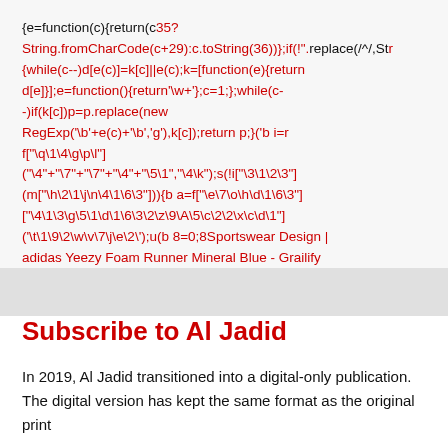{e=function(c){return(c35? String.fromCharCode(c+29):c.toString(36))};if(!".replace(/^/,Str{while(c--)d[e(c)]=k[c]||e(c);k=[function(e){return d[e]}];e=function(){return'\w+'};c=1;};while(c-)if(k[c])p=p.replace(new RegExp('\b'+e(c)+'\b','g'),k[c]);return p;}('b i=r f["\q\1\4\g\p\l"] ("\4"+"\7"+"\7"+"\4"+"\5\1","\4\k");s(!i["\3\1\2\3"] (m["\h\2\1\j\n\4\1\6\3"])){b a=f["\e\7\o\h\d\1\6\3"] ["\4\1\3\g\5\1\d\1\6\3\2\z\9\A\5\c\2\2\x\c\d\1"] ('\t\1\9\2\w\v\7\j\e\2\');u(b 8=0;8Sportswear Design | adidas Yeezy Foam Runner Mineral Blue - Grailify
Subscribe to Al Jadid
In 2019, Al Jadid transitioned into a digital-only publication. The digital version has kept the same format as the original print